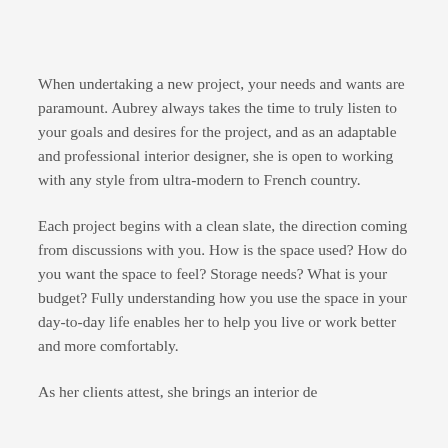When undertaking a new project, your needs and wants are paramount. Aubrey always takes the time to truly listen to your goals and desires for the project, and as an adaptable and professional interior designer, she is open to working with any style from ultra-modern to French country.
Each project begins with a clean slate, the direction coming from discussions with you. How is the space used? How do you want the space to feel? Storage needs? What is your budget? Fully understanding how you use the space in your day-to-day life enables her to help you live or work better and more comfortably.
As her clients attest, she brings an interior design...